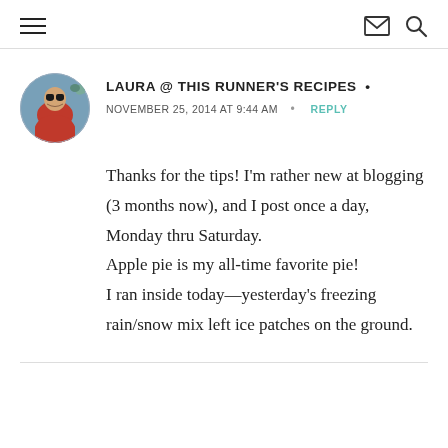≡  ✉ 🔍
LAURA @ THIS RUNNER'S RECIPES  •
NOVEMBER 25, 2014 AT 9:44 AM  •  REPLY
Thanks for the tips! I'm rather new at blogging (3 months now), and I post once a day, Monday thru Saturday.
Apple pie is my all-time favorite pie!
I ran inside today—yesterday's freezing rain/snow mix left ice patches on the ground.